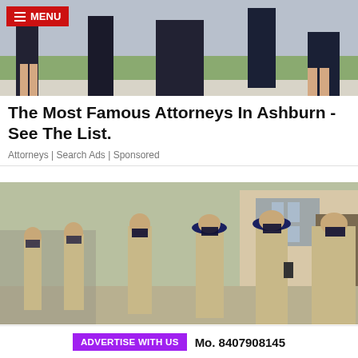[Figure (photo): Group of attorneys in formal suits standing together outdoors]
The Most Famous Attorneys In Ashburn - See The List.
Attorneys | Search Ads | Sponsored
[Figure (photo): Police officers in khaki uniforms with face masks gathered outside a building]
ADVERTISE WITH US   Mo. 8407908145